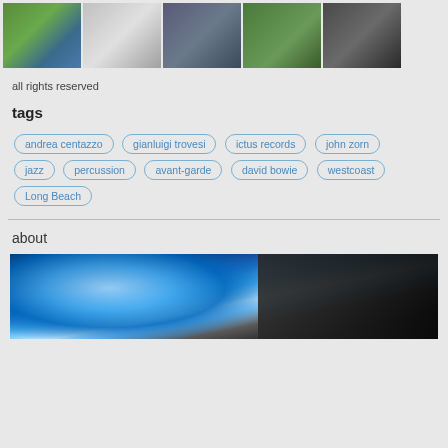[Figure (photo): Row of 5 thumbnail photos of people]
all rights reserved
tags
andrea centazzo
gianluigi trovesi
ictus records
john zorn
jazz
percussion
avant-garde
david bowie
westcoast
Long Beach
about
[Figure (photo): Dark image with blue glowing light, appears to be a stage or performance photo]